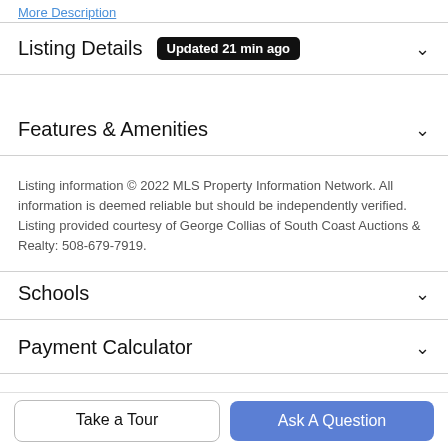More Description
Listing Details  Updated 21 min ago
Features & Amenities
Listing information © 2022 MLS Property Information Network. All information is deemed reliable but should be independently verified. Listing provided courtesy of George Collias of South Coast Auctions & Realty: 508-679-7919.
Schools
Payment Calculator
Contact Agent
Take a Tour
Ask A Question